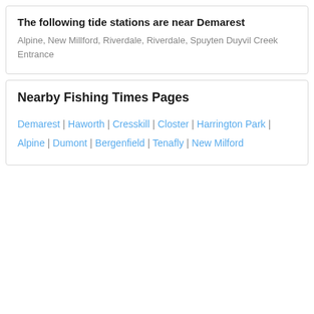The following tide stations are near Demarest
Alpine, New Millford, Riverdale, Riverdale, Spuyten Duyvil Creek Entrance
Nearby Fishing Times Pages
Demarest | Haworth | Cresskill | Closter | Harrington Park | Alpine | Dumont | Bergenfield | Tenafly | New Milford